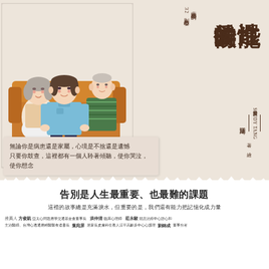[Figure (illustration): Illustration of three people (elderly couple and younger person) sitting on an orange sofa, with a cat in the foreground, watercolor style book cover art]
性還能愛的時候
病房心理師的32則人生啟發
江珊琦 著
湯舒皮SGUDY TANG 繪
無論你是病患還是家屬，心境是不捨還是遺憾
只要你鼓查，這裡都有一個人陪著傾聽，使你哭泣，使你想念
告別是人生最重要、也最難的課題
這裡的故事總是充滿淚水，但重要的是，我們還有能力把記憶化成力量
推薦人 方俊凱 亞太心問題應學交通基金會董事長　洪仲清 臨床心理師　莊永駿 姑息治療中心諮心和
主治醫師、台灣心透通應精醫醫食遺書長　葉宛屏 居家長皮膚科住看人涼平高齡多中心心護理　劉錦成 董事分署